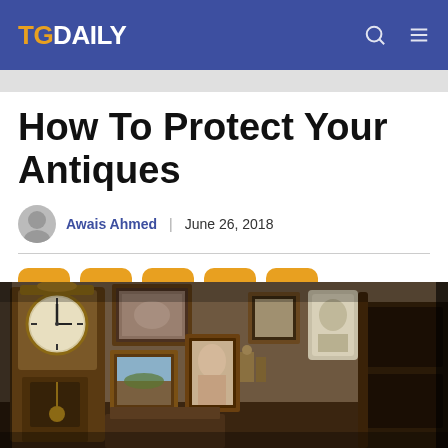TGDAILY
How To Protect Your Antiques
Awais Ahmed | June 26, 2018
[Figure (illustration): Social share buttons: Facebook, WhatsApp, Twitter, LinkedIn, Email]
[Figure (photo): Photo of an antique shop interior with old clocks, framed paintings, ornate furniture, and decorative items on the walls]